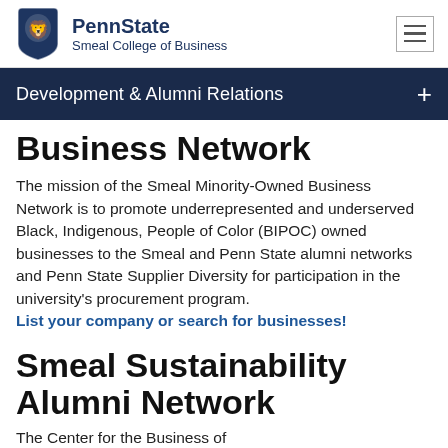[Figure (logo): Penn State Smeal College of Business logo with lion shield and text]
Development & Alumni Relations
Business Network
The mission of the Smeal Minority-Owned Business Network is to promote underrepresented and underserved Black, Indigenous, People of Color (BIPOC) owned businesses to the Smeal and Penn State alumni networks and Penn State Supplier Diversity for participation in the university's procurement program. List your company or search for businesses!
Smeal Sustainability Alumni Network
The Center for the Business of